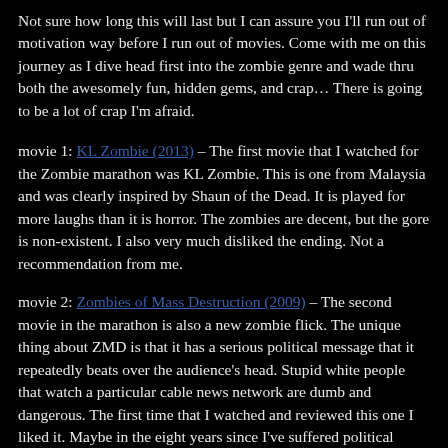Not sure how long this will last but I can assure you I'll run out of motivation way before I run out of movies. Come with me on this journey as I dive head first into the zombie genre and wade thru both the awesomely fun, hidden gems, and crap… There is going to be a lot of crap I'm afraid.
movie 1: KL Zombie (2013) – The first movie that I watched for the Zombie marathon was KL Zombie. This is one from Malaysia and was clearly inspired by Shaun of the Dead. It is played for more laughs than it is horror. The zombies are decent, but the gore is non-existent. I also very much disliked the ending. Not a recommendation from me.
movie 2: Zombies of Mass Destruction (2009) – The second movie in the marathon is also a new zombie flick. The unique thing about ZMD is that it has a serious political message that it repeatedly beats over the audience's head. Stupid white people that watch a particular cable news network are dumb and dangerous. The first time that I watched and reviewed this one I liked it. Maybe in the eight years since I've suffered political fatigue because now it annoys me. The non-political stuff is